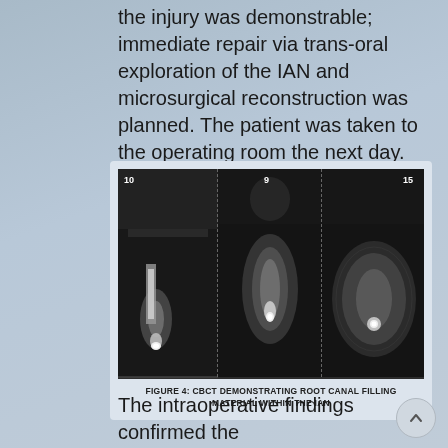the injury was demonstrable; immediate repair via trans-oral exploration of the IAN and microsurgical reconstruction was planned. The patient was taken to the operating room the next day.
[Figure (photo): Three-panel CBCT image demonstrating root canal filling material within the IAN (inferior alveolar nerve). Panels labeled 10, 9, and 15 showing cross-sectional views of the jaw with a bright radio-opaque foreign body visible.]
FIGURE 4: CBCT DEMONSTRATING ROOT CANAL FILLING MATERIAL WITHIN THE IAN
The intraoperative findings confirmed the